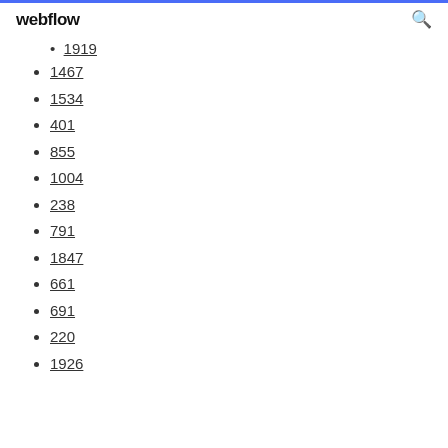webflow
1919
1467
1534
401
855
1004
238
791
1847
661
691
220
1926